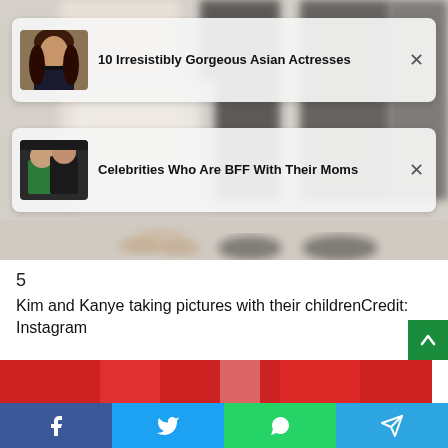[Figure (photo): Background photo of people's legs/feet in a white room, partially blurred]
[Figure (photo): Advertisement card thumbnail: Asian actress with long brown hair in dark clothing]
10 Irresistibly Gorgeous Asian Actresses
[Figure (photo): Advertisement card thumbnail: Two people embracing, one in green jacket]
Celebrities Who Are BFF With Their Moms
5
Kim and Kanye taking pictures with their childrenCredit: Instagram
[Figure (photo): Partial bottom image with red and white colors]
[Figure (infographic): Social share bar with Facebook, Twitter, WhatsApp, and Telegram buttons]